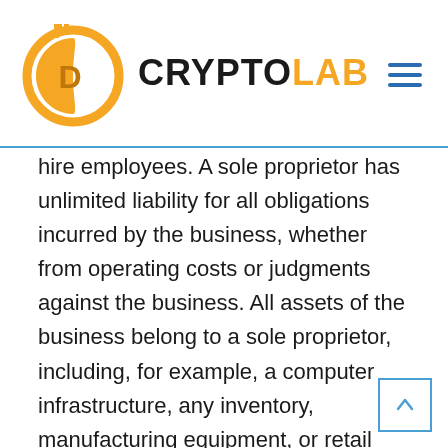CRYPTOLAB
hire employees. A sole proprietor has unlimited liability for all obligations incurred by the business, whether from operating costs or judgments against the business. All assets of the business belong to a sole proprietor, including, for example, a computer infrastructure, any inventory, manufacturing equipment, or retail fixtures, as well as any real property owned by the sole proprietor